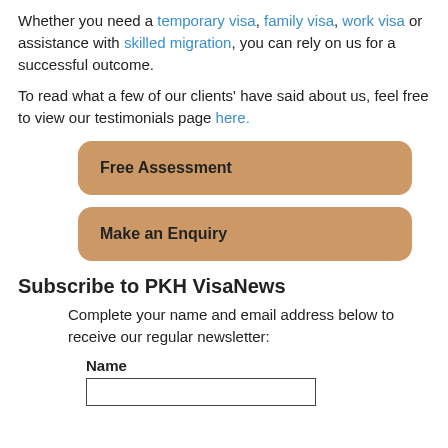Whether you need a temporary visa, family visa, work visa or assistance with skilled migration, you can rely on us for a successful outcome.
To read what a few of our clients' have said about us, feel free to view our testimonials page here.
[Figure (other): Button labeled 'Free Assessment' with rounded corners and tan/brown background]
[Figure (other): Button labeled 'Make an Enquiry' with rounded corners and tan/brown background]
Subscribe to PKH VisaNews
Complete your name and email address below to receive our regular newsletter:
Name
[Figure (other): Text input field for Name]